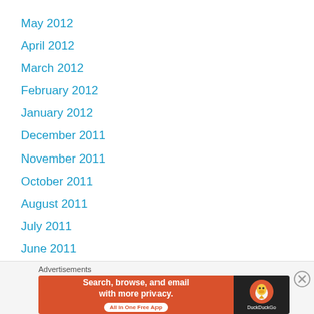May 2012
April 2012
March 2012
February 2012
January 2012
December 2011
November 2011
October 2011
August 2011
July 2011
June 2011
Advertisements
[Figure (other): DuckDuckGo advertisement banner: Search, browse, and email with more privacy. All in One Free App]